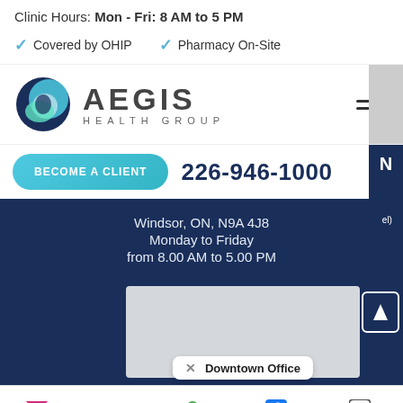Clinic Hours: Mon - Fri: 8 AM to 5 PM
✓ Covered by OHIP
✓ Pharmacy On-Site
[Figure (logo): Aegis Health Group logo with circular icon and text]
BECOME A CLIENT
226-946-1000
Windsor, ON, N9A 4J8
Monday to Friday
from 8.00 AM to 5.00 PM
[Figure (screenshot): Google Maps screenshot with Downtown Office popup]
Downtown Office
Email  Phone  Address  Faceb...  Instagr...